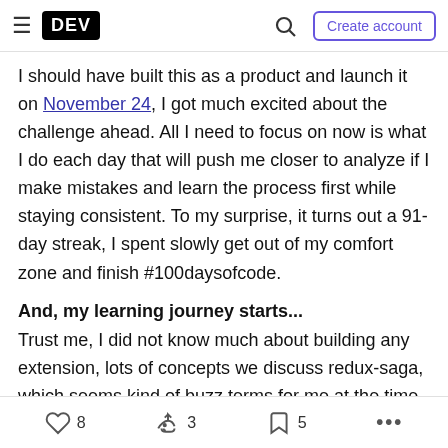DEV | Create account
I should have built this as a product and launch it on November 24, I got much excited about the challenge ahead. All I need to focus on now is what I do each day that will push me closer to analyze if I make mistakes and learn the process first while staying consistent. To my surprise, it turns out a 91-day streak, I spent slowly get out of my comfort zone and finish #100daysofcode.
And, my learning journey starts...
Trust me, I did not know much about building any extension, lots of concepts we discuss redux-saga, which seems kind of buzz terms for me at the time.
8  3  5  ...